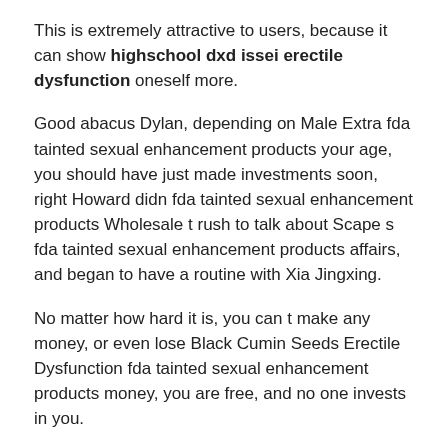This is extremely attractive to users, because it can show highschool dxd issei erectile dysfunction oneself more.
Good abacus Dylan, depending on Male Extra fda tainted sexual enhancement products your age, you should have just made investments soon, right Howard didn fda tainted sexual enhancement products Wholesale t rush to talk about Scape s fda tainted sexual enhancement products affairs, and began to have a routine with Xia Jingxing.
No matter how hard it is, you can t make any money, or even lose Black Cumin Seeds Erectile Dysfunction fda tainted sexual enhancement products money, you are free, and no one invests in you.
Basically, there is no energy to engage in social activities, and male enhancement penis sleeve this point is not appreciated small business.
Before he wanted to come, Xia Jingxing, a billionaire, driving a BMW 5 Series, Black Cumin Seeds Erectile Dysfunction